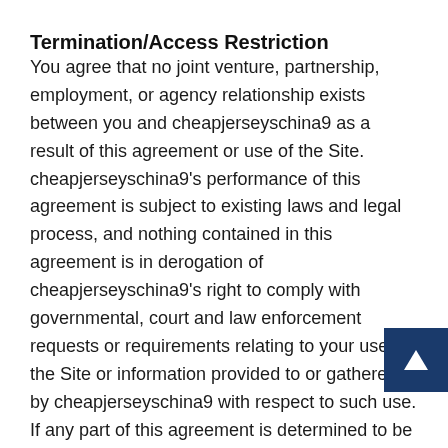Termination/Access Restriction
You agree that no joint venture, partnership, employment, or agency relationship exists between you and cheapjerseyschina9 as a result of this agreement or use of the Site. cheapjerseyschina9's performance of this agreement is subject to existing laws and legal process, and nothing contained in this agreement is in derogation of cheapjerseyschina9's right to comply with governmental, court and law enforcement requests or requirements relating to your use of the Site or information provided to or gathered by cheapjerseyschina9 with respect to such use. If any part of this agreement is determined to be invalid or unenforceable pursuant to applicable law including, but not limited to, the